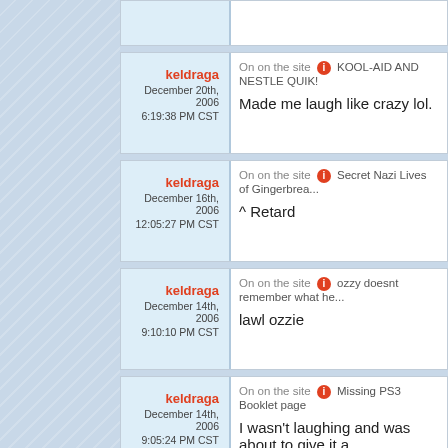keldraga | December 20th, 2006 6:19:38 PM CST | On on the site KOOL-AID AND NESTLE QUIK! | Made me laugh like crazy lol.
keldraga | December 16th, 2006 12:05:27 PM CST | On on the site Secret Nazi Lives of Gingerbrea... | ^ Retard
keldraga | December 14th, 2006 9:10:10 PM CST | On on the site ozzy doesnt remember what he... | lawl ozzie
keldraga | December 14th, 2006 9:05:24 PM CST | On on the site Missing PS3 Booklet page | I wasn't laughing and was about to give it a...